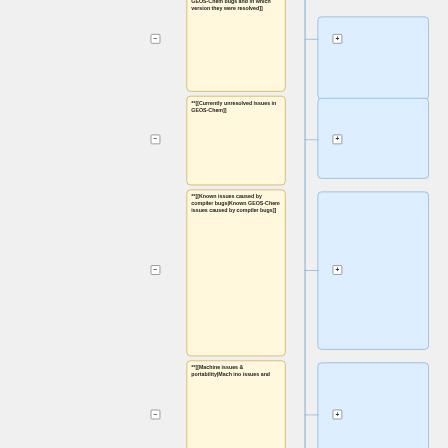[Figure (flowchart): A flowchart/tree diagram showing expandable/collapsible wiki nodes for GEOS-Chem documentation. Each node is a yellow rounded box with wiki link text, connected by a vertical blue line to a light-blue right panel. Each row has a minus button (collapse) and a plus button (expand). Nodes shown: (1) 'GEOS-Chem bugs and in which version they were resolved]]', (2) '**[[Currently unresolved issues in GEOS-Chem]]', (3) '**[[Known issues caused by compiler bugs|Known GEOS-Chem issues caused by compiler bugs]]', (4) '**[[Machine issues & portability|Mach ino issues and...' (partially cut off).]